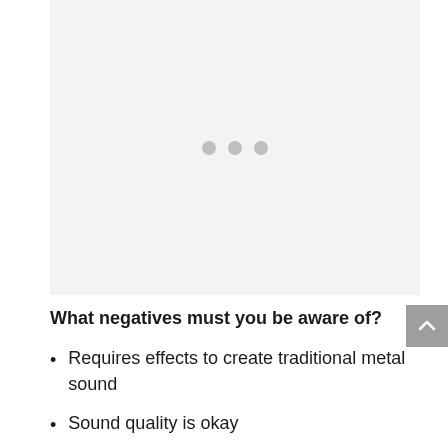[Figure (other): Image placeholder area with three gray dots indicating loading or a carousel of images]
What negatives must you be aware of?
Requires effects to create traditional metal sound
Sound quality is okay